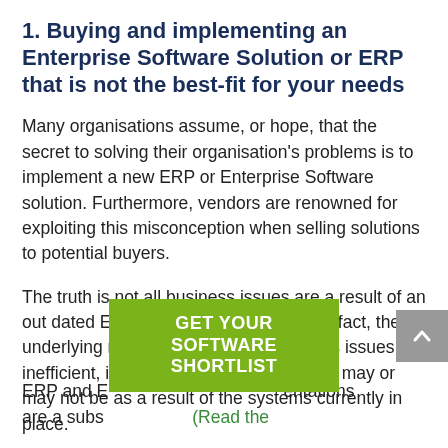1. Buying and implementing an Enterprise Software Solution or ERP that is not the best-fit for your needs
Many organisations assume, or hope, that the secret to solving their organisation's problems is to implement a new ERP or Enterprise Software solution. Furthermore, vendors are renowned for exploiting this misconception when selling solutions to potential buyers.
The truth is not all business issues are a result of an out dated ERP or Enterprise Solution. In fact, the underlying reason behind many business issues are inefficient, inconsistent processes, which may or may not be as a result of the systems currently in place.
[Figure (other): Green call-to-action banner reading GET YOUR SOFTWARE SHORTLIST]
ERP and E... entations are a subs... (Read the